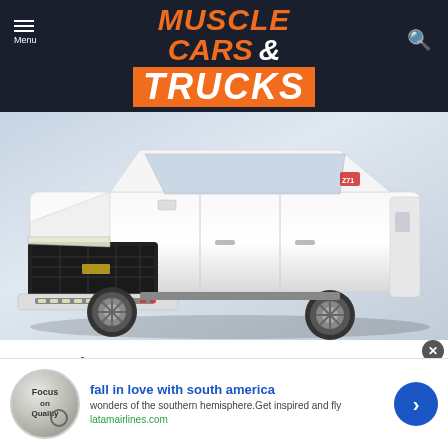MUSCLE CARS & TRUCKS
[Figure (photo): White Chevrolet Tahoe/Suburban full-size SUV front three-quarter view on neutral background]
Some of General Motors' biggest money makers are their full size SUVs, namely the Chevy Tahoe and
[Figure (infographic): Advertisement banner: 'fall in love with south america' - wonders of the southern hemisphere. Get inspired and fly latamairlines.com. Focus on Quality logo with magnifying glass.]